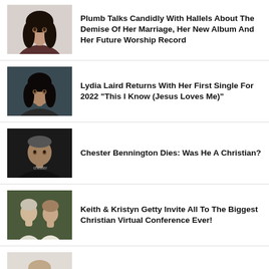[Figure (photo): Woman with long dark curly hair, white background]
Plumb Talks Candidly With Hallels About The Demise Of Her Marriage, Her New Album And Her Future Worship Record
[Figure (photo): Woman with long dark hair, dark background]
Lydia Laird Returns With Her First Single For 2022 "This I Know (Jesus Loves Me)"
[Figure (photo): Man with shaved head, dark background with text 'chester']
Chester Bennington Dies: Was He A Christian?
[Figure (photo): Man and woman standing outdoors in nature]
Keith & Kristyn Getty Invite All To The Biggest Christian Virtual Conference Ever!
[Figure (photo): Partial photo of a person]
Lysa TerKeurst's 22-Yr-Old Daughter Breaks